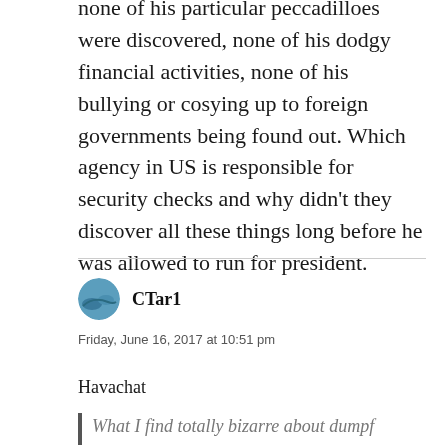none of his particular peccadilloes were discovered, none of his dodgy financial activities, none of his bullying or cosying up to foreign governments being found out. Which agency in US is responsible for security checks and why didn't they discover all these things long before he was allowed to run for president.
CTar1
Friday, June 16, 2017 at 10:51 pm
Havachat
What I find totally bizarre about dumpf